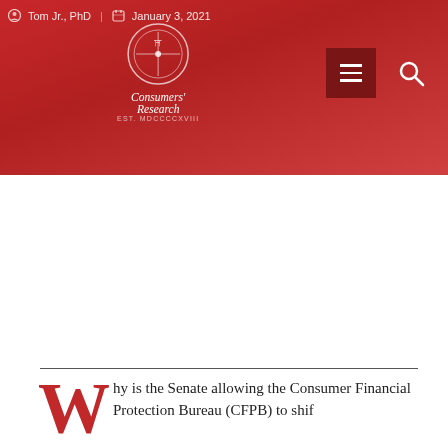Tom Jr., PhD | January 3, 2021
[Figure (logo): Consumers' Research logo — circular emblem with decorative cross/seal design, white on red, with text 'Consumers' Research' in italic serif below]
[Figure (other): Navigation menu hamburger icon (three horizontal bars) on dark red square background]
[Figure (other): Search magnifying glass icon]
Why is the Senate allowing the Consumer Financial Protection Bureau (CFPB) to shift...